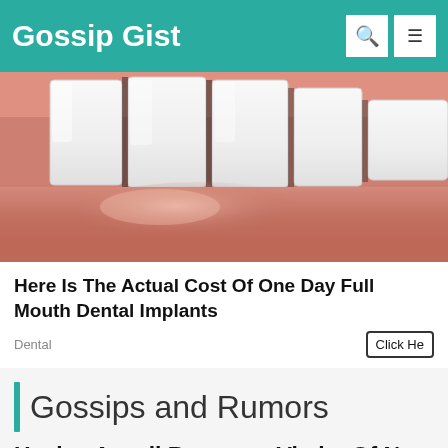Gossip Gist
[Figure (photo): Close-up photo of a person's mouth showing white teeth and lips, used as an ad image for dental implants]
Here Is The Actual Cost Of One Day Full Mouth Dental Implants
Dental
Gossips and Rumors
Hayley Atwell Becomes Victim Of Nu...